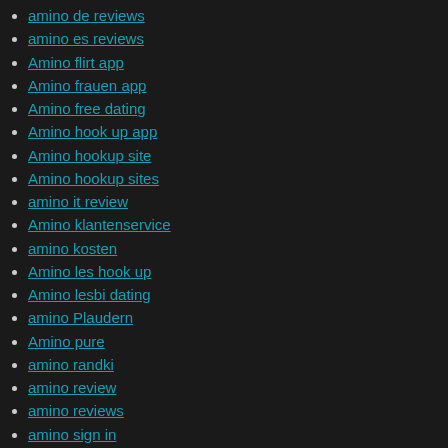amino de reviews
amino es reviews
Amino flirt app
Amino frauen app
Amino free dating
Amino hook up app
Amino hookup site
Amino hookup sites
amino it review
Amino klantenservice
amino kosten
Amino les hook up
Amino lesbi dating
amino Plaudern
Amino pure
amino randki
amino review
amino reviews
amino sign in
Amino site
Amino sul web
Amino visitors
amino-inceleme review
amino-inceleme reviews
amino-inceleme visitors